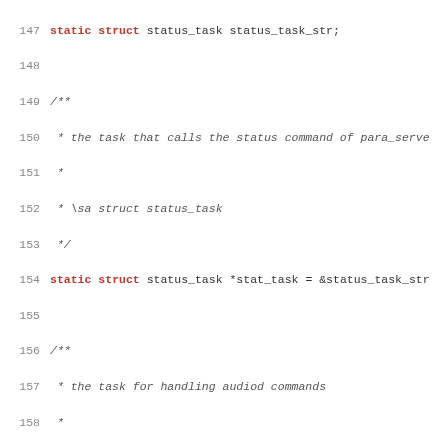Source code listing, lines 147-179, C code with comments and struct definitions
147: static struct status_task status_task_str;
148:
149: /**
150:  * the task that calls the status command of para_serve
151:  *
152:  * \sa struct status_task
153:  */
154: static struct status_task *stat_task = &status_task_str
155:
156: /**
157:  * the task for handling audiod commands
158:  *
159:  * \sa struct task, struct sched
160:  */
161: struct command_task {
162:         /** the local listening socket */
163:         int fd;
164:         /** the associated task structure */
165:         struct task task;
166: };
167:
168: /** iterate over all supported audio formats */
169: #define FOR_EACH_AUDIO_FORMAT(af) for (af = 0; af < NUM
170:
171: /**
172:  * Get the audio format number.
173:  *
174:  * \param name The name of the audio format.
175:  *
176:  * \return The audio format number on success, -E_UNSUP
177:  * \a name is not a supported audio format.
178:  */
179: static int get_audio_format_num(const char *name)